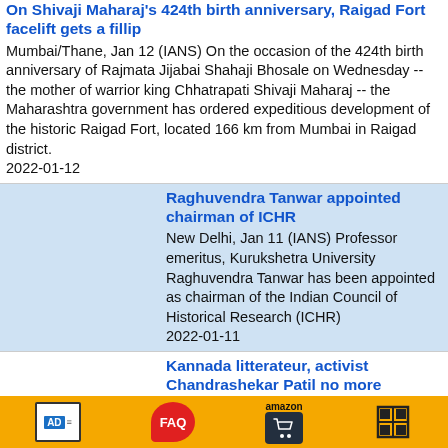On Shivaji Maharaj's 424th birth anniversary, Raigad Fort facelift gets a fillip
Mumbai/Thane, Jan 12 (IANS) On the occasion of the 424th birth anniversary of Rajmata Jijabai Shahaji Bhosale on Wednesday -- the mother of warrior king Chhatrapati Shivaji Maharaj -- the Maharashtra government has ordered expeditious development of the historic Raigad Fort, located 166 km from Mumbai in Raigad district. 2022-01-12
Raghuvendra Tanwar appointed chairman of ICHR
New Delhi, Jan 11 (IANS) Professor emeritus, Kurukshetra University Raghuvendra Tanwar has been appointed as chairman of the Indian Council of Historical Research (ICHR) 2022-01-11
Kannada litterateur, activist Chandrashekar Patil no more
Bengaluru, Jan 10 (IANS) Kannada litterateur, activist Chandrashekar Patil (83) passed away on Monday in a private hospital here after
AD | FAQ | amazon | [grid icon]